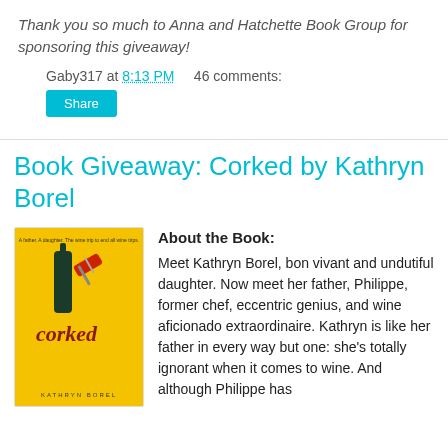Thank you so much to Anna and Hatchette Book Group for sponsoring this giveaway!
Gaby317 at 8:13 PM   46 comments:
Share
Book Giveaway: Corked by Kathryn Borel
[Figure (photo): Book cover of 'Corked' by Kathryn Borel — yellow background with a wine bottle and corkscrew, title in red script lettering]
About the Book: Meet Kathryn Borel, bon vivant and undutiful daughter. Now meet her father, Philippe, former chef, eccentric genius, and wine aficionado extraordinaire. Kathryn is like her father in every way but one: she's totally ignorant when it comes to wine. And although Philippe has